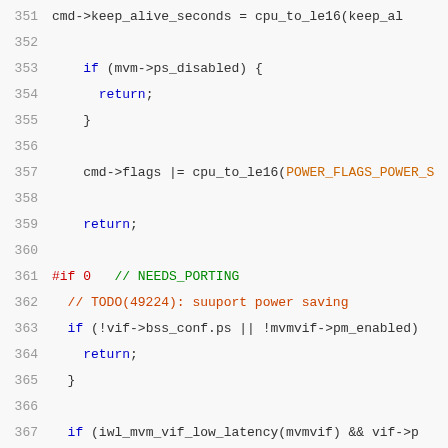[Figure (screenshot): Source code listing showing lines 351–371 of a C file. Lines show C code with syntax highlighting: line numbers in grey on the left, keywords in blue (if, return), preprocessor directives in red (#if 0), comments in green (// NEEDS_PORTING, // TODO), identifiers and macros in orange/dark-red. Code includes keep_alive_seconds assignment, ps_disabled check, flags assignment, #if 0 block with TODO comment about power saving, bss_conf.ps check, iwl_mvm_vif_low_latency check, and fw_has_capa check.]